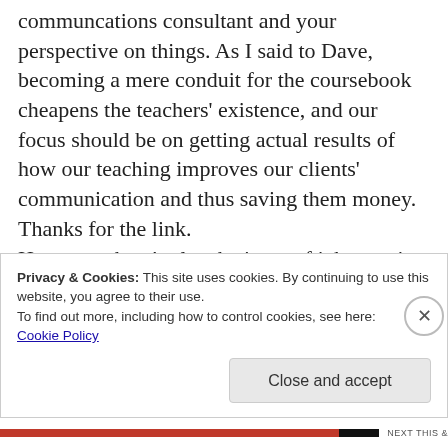communcations consultant and your perspective on things. As I said to Dave, becoming a mere conduit for the coursebook cheapens the teachers' existence, and our focus should be on getting actual results of how our teaching improves our clients' communication and thus saving them money. Thanks for the link. However, there's also the issue of job security for teachers, I believe. Many teachers are
Privacy & Cookies: This site uses cookies. By continuing to use this website, you agree to their use.
To find out more, including how to control cookies, see here:
Cookie Policy
Close and accept